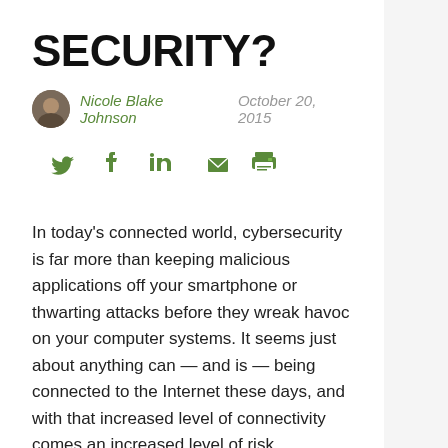SECURITY?
Nicole Blake Johnson   October 20, 2015
[Figure (infographic): Social sharing icons: Twitter, Facebook, LinkedIn, Email, Print]
In today’s connected world, cybersecurity is far more than keeping malicious applications off your smartphone or thwarting attacks before they wreak havoc on your computer systems. It seems just about anything can — and is — being connected to the Internet these days, and with that increased level of connectivity comes an increased level of risk.
Even vending machines are being hooked up to the Internet. And that’s just another endpoint through which hackers can worm